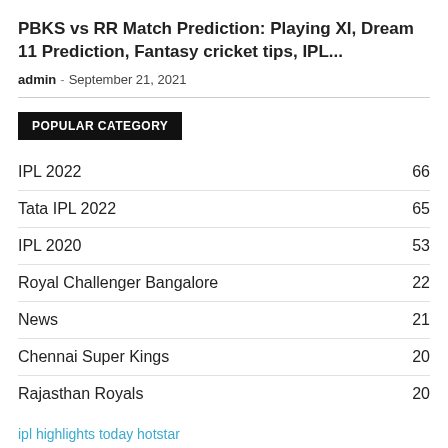PBKS vs RR Match Prediction: Playing XI, Dream 11 Prediction, Fantasy cricket tips, IPL...
admin - September 21, 2021
POPULAR CATEGORY
IPL 2022  66
Tata IPL 2022  65
IPL 2020  53
Royal Challenger Bangalore  22
News  21
Chennai Super Kings  20
Rajasthan Royals  20
ipl highlights today hotstar
ipl highlights today match 2021
ipl highlights today youtube
ipl highlights today csk vs rcb
ipl highlights today rcb vs kkr